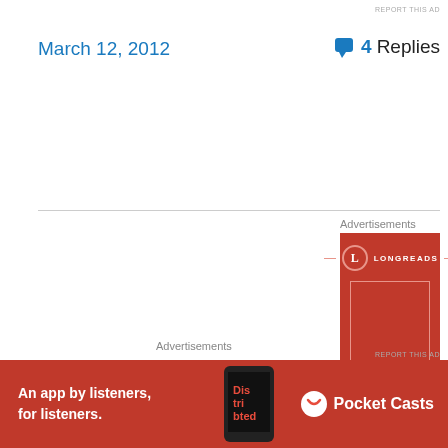REPORT THIS AD
March 12, 2012
4 Replies
Advertisements
[Figure (illustration): Longreads advertisement on red background with logo and tagline 'The best stories on the']
Advertisements
[Figure (illustration): Pocket Casts advertisement: 'An app by listeners, for listeners.' with phone image on red background]